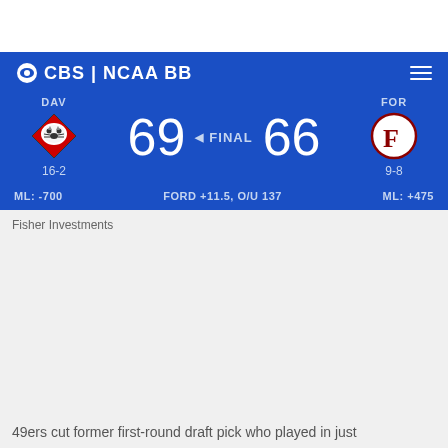CBS | NCAA BB
[Figure (screenshot): Scoreboard showing Davidson (DAV) vs Fordham (FOR), final score 69-66, with team logos, records (16-2 and 9-8), and odds (ML: -700, FORD +11.5, O/U 137, ML: +475)]
Fisher Investments
49ers cut former first-round draft pick who played in just